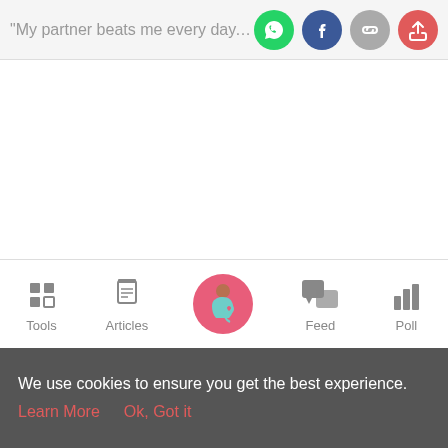"My partner beats me every day, but
[Figure (screenshot): Social share icons: WhatsApp (green), Facebook (dark blue), link/copy (gray), share (red/coral)]
[Figure (screenshot): Bottom navigation bar with Tools (grid icon), Articles (clipboard icon), home/pregnant woman icon (pink circle), Feed (chat bubbles icon), Poll (bar chart icon)]
We use cookies to ensure you get the best experience.
Learn More   Ok, Got it